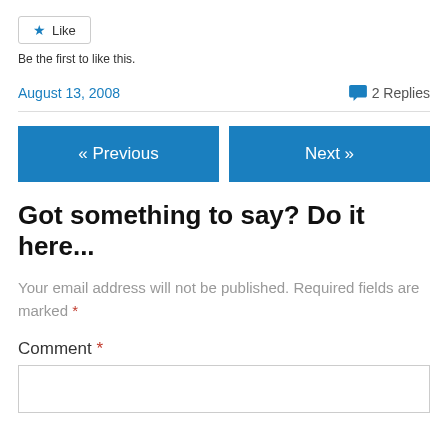[Figure (other): Like button widget with star icon]
Be the first to like this.
August 13, 2008
2 Replies
[Figure (other): Navigation buttons: Previous and Next]
Got something to say? Do it here...
Your email address will not be published. Required fields are marked *
Comment *
[Figure (other): Comment text area input box]